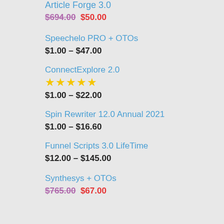Article Forge 3.0
$694.00  $50.00
Speechelo PRO + OTOs
$1.00 – $47.00
ConnectExplore 2.0
★★★★★
$1.00 – $22.00
Spin Rewriter 12.0 Annual 2021
$1.00 – $16.60
Funnel Scripts 3.0 LifeTime
$12.00 – $145.00
Synthesys + OTOs
$765.00  $67.00